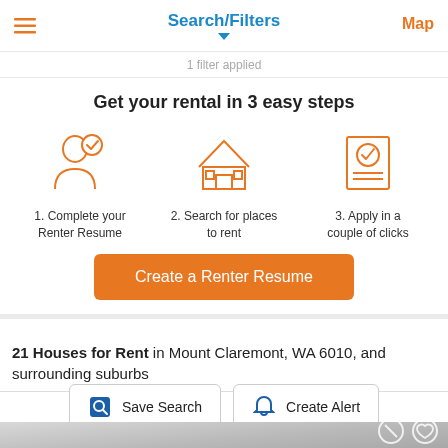Search/Filters
1 filter applied
Get your rental in 3 easy steps
1. Complete your Renter Resume
2. Search for places to rent
3. Apply in a couple of clicks
Create a Renter Resume
21 Houses for Rent in Mount Claremont, WA 6010, and surrounding suburbs
Save Search
Create Alert
[Figure (photo): Partial view of a room interior (ceiling/blinds visible)]